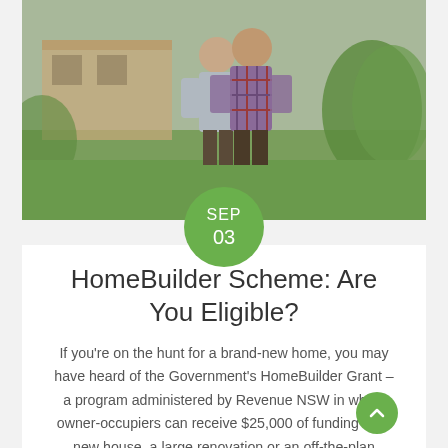[Figure (photo): Two people embracing outdoors in front of a house under construction, surrounded by greenery and grass.]
HomeBuilder Scheme: Are You Eligible?
If you’re on the hunt for a brand-new home, you may have heard of the Government’s HomeBuilder Grant – a program administered by Revenue NSW in which owner-occupiers can receive $25,000 of funding for a new house, a large renovation or an off-the-plan property. What is the